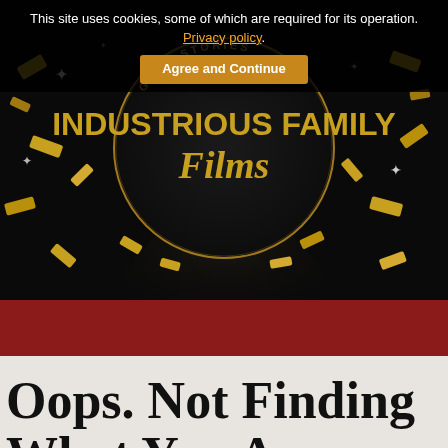This site uses cookies, some of which are required for its operation. Privacy policy.
Agree and Continue
[Figure (logo): Industrious Family Films logo on dark background with gold confetti. Circular logo with text 'GOOD STORIES' around top, 'INDUSTRIOUS FAMILY' in large gold letters, and 'Films' in gold script below, against a black background with scattered gold confetti pieces and sparkles.]
Oops. Not Finding What You Are Looking For On